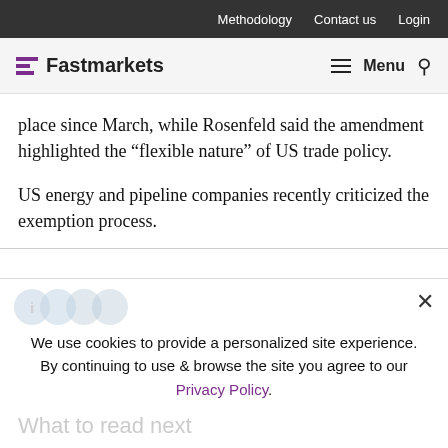Methodology   Contact us   Login
Fastmarkets   Menu
place since March, while Rosenfeld said the amendment highlighted the “flexible nature” of US trade policy.
US energy and pipeline companies recently criticized the exemption process.
We use cookies to provide a personalized site experience.
By continuing to use & browse the site you agree to our Privacy Policy.
What to read next
Proceed